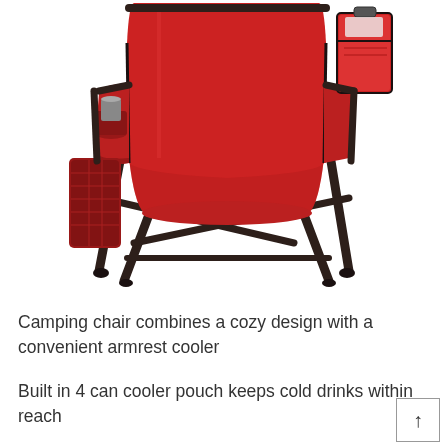[Figure (photo): A red folding camping chair with dark metal frame, featuring an armrest cooler on the right side and a side mesh pocket on the left. The chair has a wide padded seat and backrests in red fabric.]
Camping chair combines a cozy design with a convenient armrest cooler
Built in 4 can cooler pouch keeps cold drinks within reach